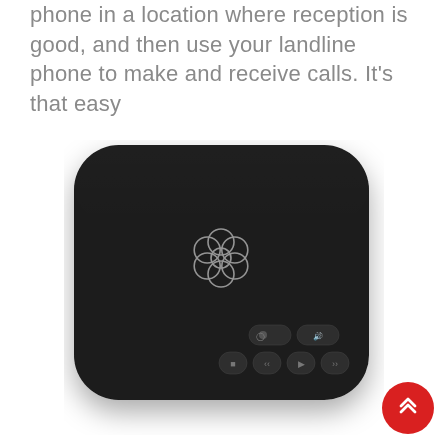phone in a location where reception is good, and then use your landline phone to make and receive calls. It's that easy
[Figure (photo): Top-down view of a black rounded-rectangle Ooma Telo device with the Ooma flower logo in the center and control buttons at the bottom]